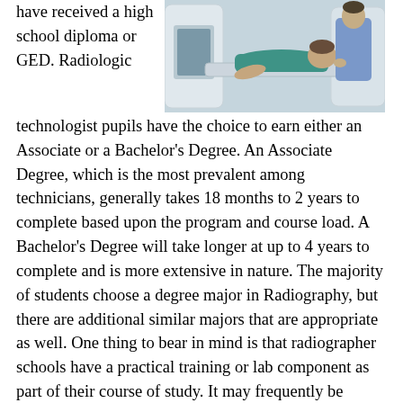have received a high school diploma or GED. Radiologic technologist pupils have the choice to earn either an Associate or a Bachelor's Degree. An Associate Degree, which is the most prevalent among technicians, generally takes 18 months to 2 years to complete based upon the program and course load. A Bachelor's Degree will take longer at up to 4 years to complete and is more extensive in nature. The majority of students choose a degree major in Radiography, but there are additional similar majors that are appropriate as well. One thing to bear in mind is that radiographer schools have a practical training or lab component as part of their course of study. It may frequently be satisfied by participating in an externship program which many colleges sponsor through local clinics and hospitals in Menifee CA or their area. After you have graduated from any of the degree programs you will need to complete with
[Figure (photo): Medical imaging technologist in scrubs positioning a patient in a CT or MRI scanner, with another medical professional assisting]